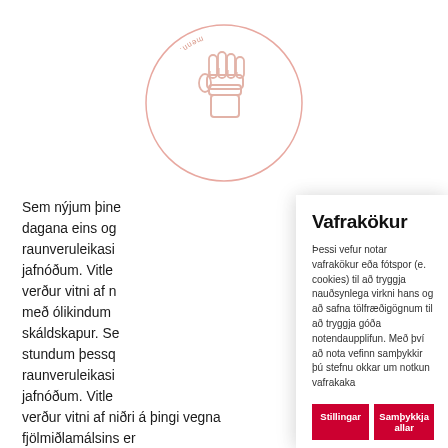[Figure (logo): Circular logo with a raised fist illustration in light pink/rose color, with text around the circle border]
Sem nýjum þing... dagana eins og... raunveruleikasi... jafnóðum. Vitle... verður vitni af n... með ólikindum... skáldskapur. Se... stundum þesso... raunveruleikasi... jafnóðum. Vitle... verður vitni af niðri á þingi vegna fjölmiðlamálsins er
Vafrakökur

Þessi vefur notar vafrakökur eða fótspor (e. cookies) til að tryggja nauðsynlega virkni hans og að safna tölfræðigögnum til að tryggja góða notendaupplifun. Með því að nota vefinn samþykkir þú stefnu okkar um notkun vafrakaka

Stillingar   Samþykkja allar